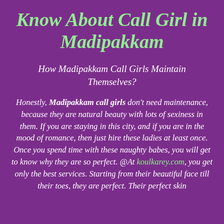Know About Call Girl in Madipakkam
How Madipakkam Call Girls Maintain Themselves?
Honestly, Madipakkam call girls don't need maintenance, because they are natural beauty with lots of sexiness in them. If you are staying in this city, and if you are in the mood of romance, then just hire these ladies at least once. Once you spend time with these naughty babes, you will get to know why they are so perfect. @At koulkarey.com, you get only the best services. Starting from their beautiful face till their toes, they are perfect. Their perfect skin